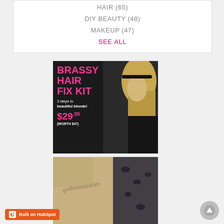HAIR (65)
DIY BEAUTY (48)
MAKEUP (47)
SEE ALL
[Figure (photo): Advertisement for Brassy Hair Fix Kit: black background, blonde woman with headband, pink bold text 'BRASSY HAIR FIX KIT', white text '3 steps to beautiful blonde!', pink price '$29.99', white text '(WORTH $47)']
[Figure (photo): gotbeauty.com banner image with accessories on tan/leopard print fabric]